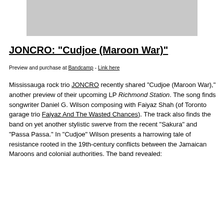[Figure (photo): Gray placeholder image at the top of the page]
JONCRO: "Cudjoe (Maroon War)"
Preview and purchase at Bandcamp - Link here
Mississauga rock trio JONCRO recently shared "Cudjoe (Maroon War)," another preview of their upcoming LP Richmond Station. The song finds songwriter Daniel G. Wilson composing with Faiyaz Shah (of Toronto garage trio Faiyaz And The Wasted Chances). The track also finds the band on yet another stylistic swerve from the recent "Sakura" and "Passa Passa." In "Cudjoe" Wilson presents a harrowing tale of resistance rooted in the 19th-century conflicts between the Jamaican Maroons and colonial authorities. The band revealed: